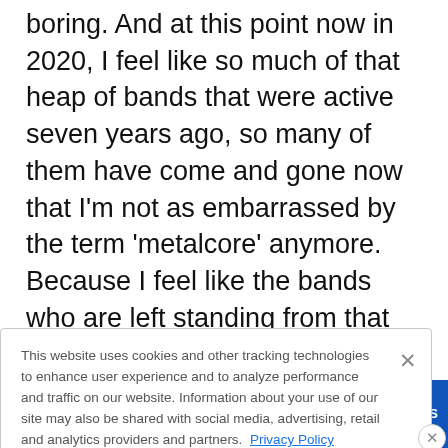boring. And at this point now in 2020, I feel like so much of that heap of bands that were active seven years ago, so many of them have come and gone now that I'm not as embarrassed by the term 'metalcore' anymore. Because I feel like the bands who are left standing from that boom, it's sort of like the cream rose to the top. And while I much prefer just calling AUGUST BURNS RED a metal band, I get why people would call us a
This website uses cookies and other tracking technologies to enhance user experience and to analyze performance and traffic on our website. Information about your use of our site may also be shared with social media, advertising, retail and analytics providers and partners. Privacy Policy
[Figure (screenshot): Advertisement banner for Alter Bridge 'Pawns & Kings' tour with Mammoth WVH, promoting 'Get Tickets Now']